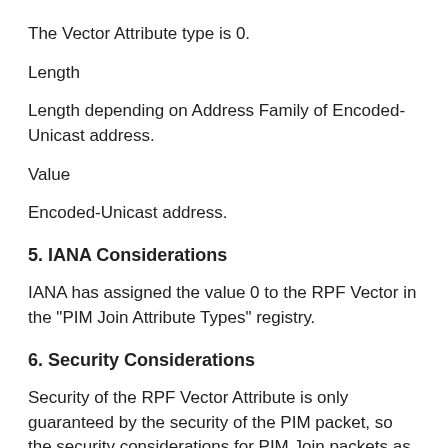The Vector Attribute type is 0.
Length
Length depending on Address Family of Encoded-Unicast address.
Value
Encoded-Unicast address.
5. IANA Considerations
IANA has assigned the value 0 to the RPF Vector in the "PIM Join Attribute Types" registry.
6. Security Considerations
Security of the RPF Vector Attribute is only guaranteed by the security of the PIM packet, so the security considerations for PIM Join packets as described in PIM-SM [RFC4601] apply here.